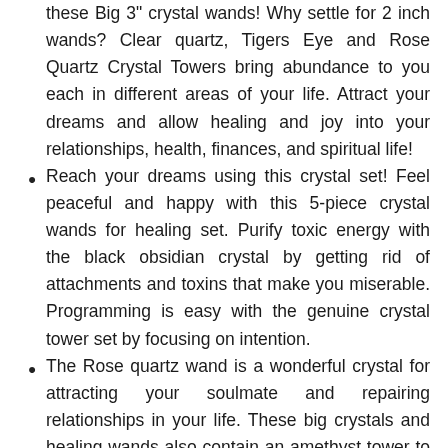these Big 3" crystal wands! Why settle for 2 inch wands? Clear quartz, Tigers Eye and Rose Quartz Crystal Towers bring abundance to you each in different areas of your life. Attract your dreams and allow healing and joy into your relationships, health, finances, and spiritual life!
Reach your dreams using this crystal set! Feel peaceful and happy with this 5-piece crystal wands for healing set. Purify toxic energy with the black obsidian crystal by getting rid of attachments and toxins that make you miserable. Programming is easy with the genuine crystal tower set by focusing on intention.
The Rose quartz wand is a wonderful crystal for attracting your soulmate and repairing relationships in your life. These big crystals and healing wands also contain an amethyst tower to bring peace and calming energy.
Surround yourself with high vibrational energy by